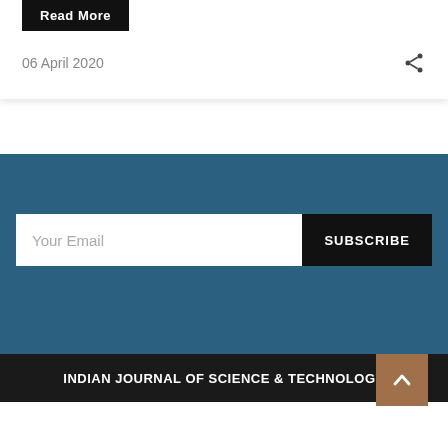Read More
06 April 2020
[Figure (other): Share icon (network/social share symbol)]
Your Email
SUBSCRIBE
[Figure (other): Scroll to top button with upward caret arrow, brown background]
INDIAN JOURNAL OF SCIENCE & TECHNOLOGY